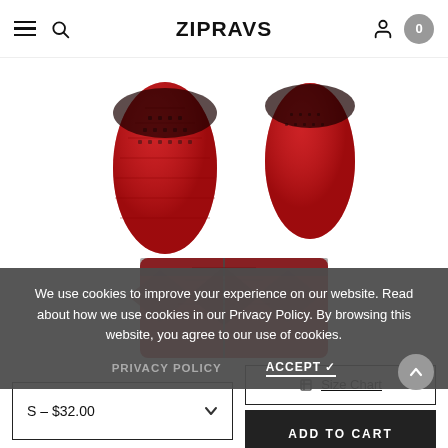ZIPRAVS
[Figure (photo): Product photo showing red and black compression sportswear garments — two leg sleeves at the top and a waistband/shorts piece below, with geometric and diamond patterns.]
We use cookies to improve your experience on our website. Read about how we use cookies in our Privacy Policy. By browsing this website, you agree to our use of cookies.
PRIVACY POLICY   ACCEPT ✓
S – $32.00
Size Chart
ADD TO CART